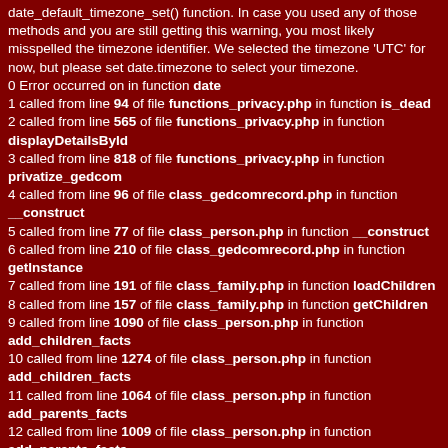date_default_timezone_set() function. In case you used any of those methods and you are still getting this warning, you most likely misspelled the timezone identifier. We selected the timezone 'UTC' for now, but please set date.timezone to select your timezone.
0 Error occurred on in function date
1 called from line 94 of file functions_privacy.php in function is_dead
2 called from line 565 of file functions_privacy.php in function displayDetailsById
3 called from line 818 of file functions_privacy.php in function privatize_gedcom
4 called from line 96 of file class_gedcomrecord.php in function __construct
5 called from line 77 of file class_person.php in function __construct
6 called from line 210 of file class_gedcomrecord.php in function getInstance
7 called from line 191 of file class_family.php in function loadChildren
8 called from line 157 of file class_family.php in function getChildren
9 called from line 1090 of file class_person.php in function add_children_facts
10 called from line 1274 of file class_person.php in function add_children_facts
11 called from line 1064 of file class_person.php in function add_parents_facts
12 called from line 1009 of file class_person.php in function add_parents_facts
13 called from line 943 of file class_person.php in function add_family_facts
14 called from line 1372 of file individual_ctrl.php in function print_facts_tab
15 called from line 1323 of file individual_ctrl.php in function getTab